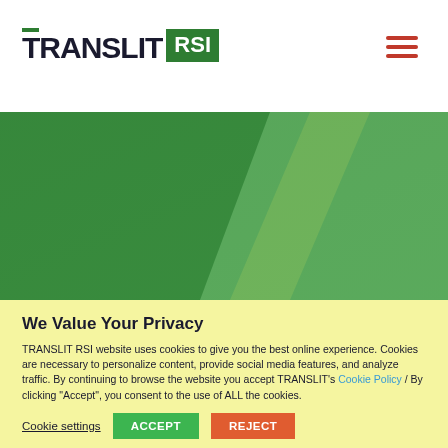TRANSLIT RSI
[Figure (illustration): Green gradient hero banner with darker green on the left and lighter yellow-green on the right, with a diagonal light ray dividing the two tones.]
We Value Your Privacy
TRANSLIT RSI website uses cookies to give you the best online experience. Cookies are necessary to personalize content, provide social media features, and analyze traffic. By continuing to browse the website you accept TRANSLIT's Cookie Policy / By clicking "Accept", you consent to the use of ALL the cookies.
Cookie settings
ACCEPT
REJECT